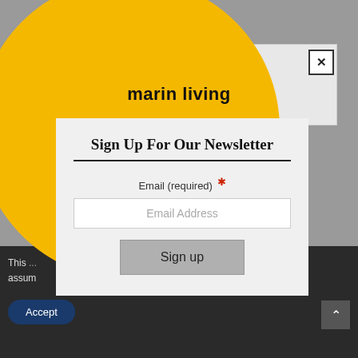[Figure (screenshot): Background website with gray header area showing partial 'Em...' text and a white input box region at top, with dark cookie consent bar at bottom showing 'This...' text, 'Accept' button, and an up-arrow button]
[Figure (infographic): Large yellow circle overlay centered on the page containing the marin living logo and newsletter signup modal]
marin living
Sign Up For Our Newsletter
Email (required) *
Email Address
Sign up